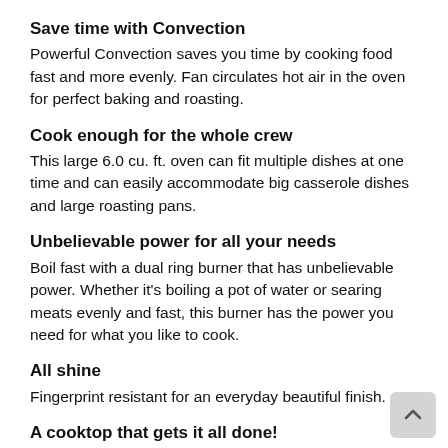Save time with Convection
Powerful Convection saves you time by cooking food fast and more evenly. Fan circulates hot air in the oven for perfect baking and roasting.
Cook enough for the whole crew
This large 6.0 cu. ft. oven can fit multiple dishes at one time and can easily accommodate big casserole dishes and large roasting pans.
Unbelievable power for all your needs
Boil fast with a dual ring burner that has unbelievable power. Whether it's boiling a pot of water or searing meats evenly and fast, this burner has the power you need for what you like to cook.
All shine
Fingerprint resistant for an everyday beautiful finish.
A cooktop that gets it all done!
This 5-burner cooktop includes 2 power burners and cast iron edge-to-edge grates so you can